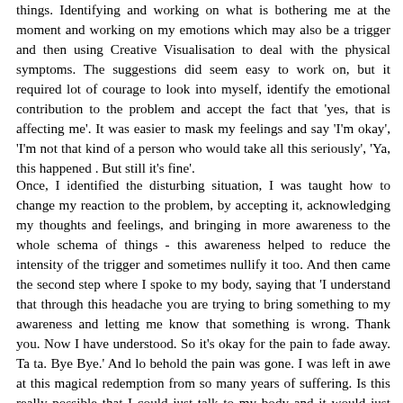things.  Identifying and working on what is bothering me at the moment and working on my emotions which may also be a trigger and then using Creative Visualisation to deal with the physical symptoms.  The suggestions did seem easy to work on, but it required lot of courage to look into myself, identify the emotional contribution to the problem and accept the fact that 'yes, that is affecting me'.  It was easier to mask my feelings and say 'I'm okay',  'I'm not that kind of a person who would take all this seriously', 'Ya, this happened .  But still it's fine'.
Once, I identified the disturbing situation, I was taught how to change my reaction to the problem, by accepting it, acknowledging my thoughts and feelings, and bringing in more awareness to the whole schema of things - this awareness helped to reduce the intensity of the trigger and sometimes nullify it too.  And then came the second step where I spoke to my body, saying that 'I understand that through this headache you are trying to bring something to my awareness and letting me know that something is wrong.  Thank you.  Now I have understood. So it's okay for the pain to fade away.  Ta ta.  Bye Bye.'  And lo behold the pain was gone.  I was left in awe at this magical redemption from so many years of suffering.  Is this really possible that I could just talk to my body and it would just listen to me?  But yes,